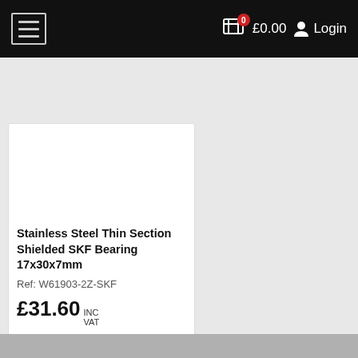£0.00  Login
What are you looking for?
Stainless Steel Thin Section Shielded SKF Bearing 17x30x7mm
Ref: W61903-2Z-SKF
£31.60 INC VAT